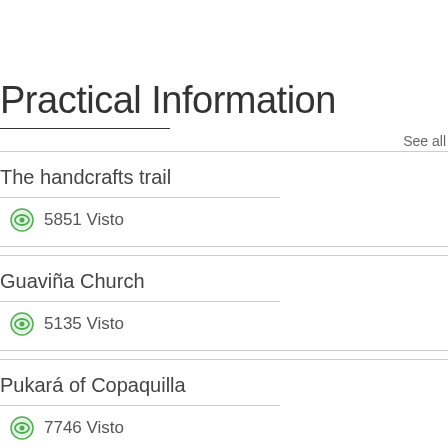Practical Information
See all
The handcrafts trail
5851 Visto
Guaviña Church
5135 Visto
Pukará of Copaquilla
7746 Visto